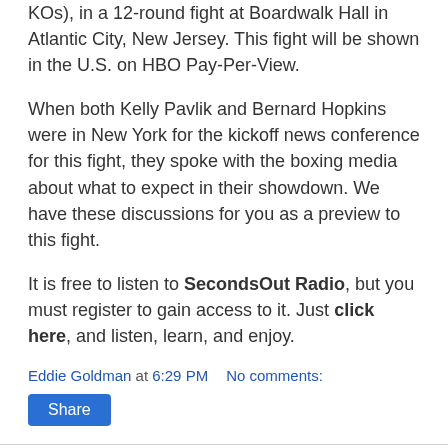KOs), in a 12-round fight at Boardwalk Hall in Atlantic City, New Jersey. This fight will be shown in the U.S. on HBO Pay-Per-View.
When both Kelly Pavlik and Bernard Hopkins were in New York for the kickoff news conference for this fight, they spoke with the boxing media about what to expect in their showdown. We have these discussions for you as a preview to this fight.
It is free to listen to SecondsOut Radio, but you must register to gain access to it. Just click here, and listen, learn, and enjoy.
Eddie Goldman at 6:29 PM   No comments:
Share
Saturday, October 11, 2008
No Holds Barred: John Perretti on EliteXC Kimbo-Petruzelli Controversy,